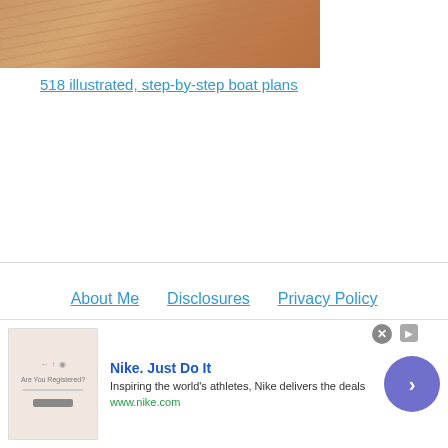[Figure (photo): Partial view of a wooden boat surface with visible wood grain texture in warm brown tones]
518 illustrated, step-by-step boat plans
About Me
Disclosures
Privacy Policy
Contact Us
Site Map
Home
© 2022 Copyright Flat Bottom Boat World
[Figure (screenshot): Nike advertisement banner — Nike. Just Do It — Inspiring the world's athletes, Nike delivers the deals — www.nike.com]